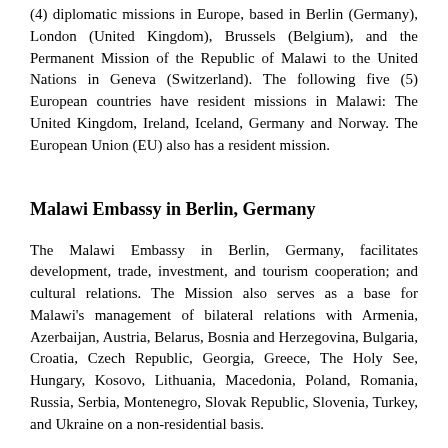(4) diplomatic missions in Europe, based in Berlin (Germany), London (United Kingdom), Brussels (Belgium), and the Permanent Mission of the Republic of Malawi to the United Nations in Geneva (Switzerland). The following five (5) European countries have resident missions in Malawi: The United Kingdom, Ireland, Iceland, Germany and Norway. The European Union (EU) also has a resident mission.
Malawi Embassy in Berlin, Germany
The Malawi Embassy in Berlin, Germany, facilitates development, trade, investment, and tourism cooperation; and cultural relations. The Mission also serves as a base for Malawi's management of bilateral relations with Armenia, Azerbaijan, Austria, Belarus, Bosnia and Herzegovina, Bulgaria, Croatia, Czech Republic, Georgia, Greece, The Holy See, Hungary, Kosovo, Lithuania, Macedonia, Poland, Romania, Russia, Serbia, Montenegro, Slovak Republic, Slovenia, Turkey, and Ukraine on a non-residential basis.
Malawi High Commission in London, UK
The Malawi High Commission in London, UK, facilitates development, cooperation, trade, investment, and tourism...